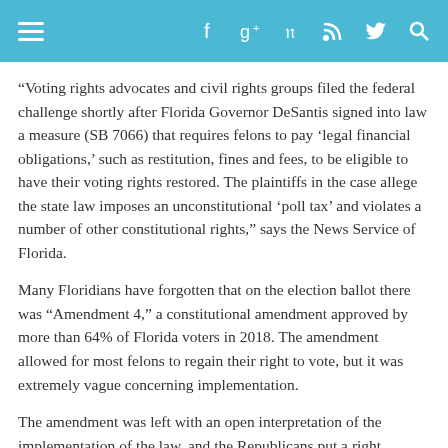Navigation and social media header bar
“Voting rights advocates and civil rights groups filed the federal challenge shortly after Florida Governor DeSantis signed into law a measure (SB 7066) that requires felons to pay ‘legal financial obligations,’ such as restitution, fines and fees, to be eligible to have their voting rights restored. The plaintiffs in the case allege the state law imposes an unconstitutional ‘poll tax’ and violates a number of other constitutional rights,” says the News Service of Florida.
Many Floridians have forgotten that on the election ballot there was “Amendment 4,” a constitutional amendment approved by more than 64% of Florida voters in 2018. The amendment allowed for most felons to regain their right to vote, but it was extremely vague concerning implementation.
The amendment was left with an open interpretation of the implementation of the law, and the Republicans put a right conservative spin on the execution. To begin with, Republicans want less Americans to vote, because there are more Democrats on the election polls in Florida and across the